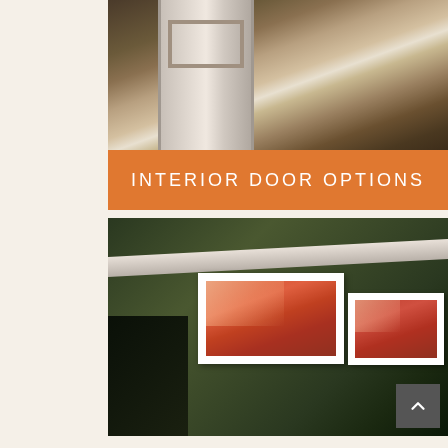[Figure (photo): Interior photo showing a white paneled door with light shining through, draped fabric visible on the right side, taken from inside a room.]
INTERIOR DOOR OPTIONS
[Figure (photo): Interior room photo showing a green wall with crown molding near the ceiling, and two framed pass-through windows with white frames revealing an orange-red room behind them. A dark navigation arrow button is visible at bottom right.]